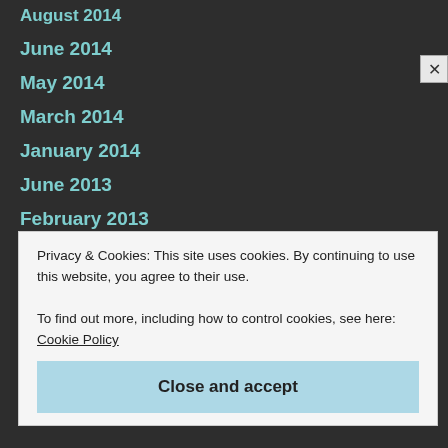August 2014
June 2014
May 2014
March 2014
January 2014
June 2013
February 2013
December 2012
November 2012
October 2012
September 2012
Privacy & Cookies: This site uses cookies. By continuing to use this website, you agree to their use.
To find out more, including how to control cookies, see here: Cookie Policy
Close and accept